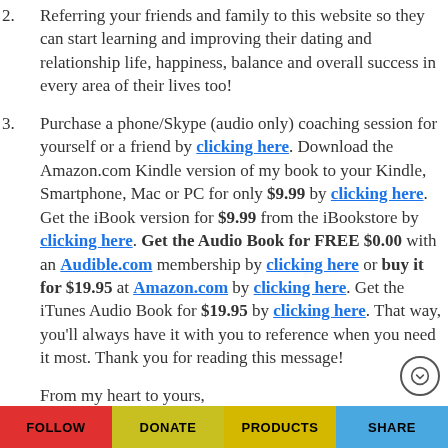Referring your friends and family to this website so they can start learning and improving their dating and relationship life, happiness, balance and overall success in every area of their lives too!
Purchase a phone/Skype (audio only) coaching session for yourself or a friend by clicking here. Download the Amazon.com Kindle version of my book to your Kindle, Smartphone, Mac or PC for only $9.99 by clicking here. Get the iBook version for $9.99 from the iBookstore by clicking here. Get the Audio Book for FREE $0.00 with an Audible.com membership by clicking here or buy it for $19.95 at Amazon.com by clicking here. Get the iTunes Audio Book for $19.95 by clicking here. That way, you'll always have it with you to reference when you need it most. Thank you for reading this message!
From my heart to yours,